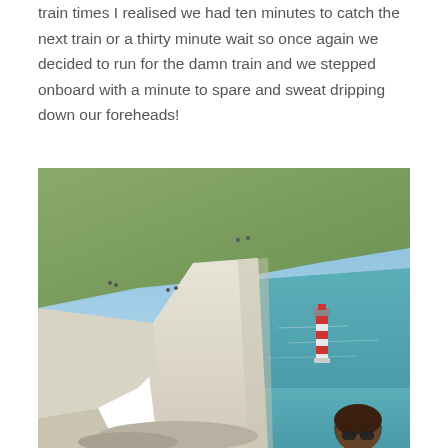train times I realised we had ten minutes to catch the next train or a thirty minute wait so once again we decided to run for the damn train and we stepped onboard with a minute to spare and sweat dripping down our foreheads!
[Figure (photo): Outdoor photo of white chalk cliffs (likely Beachy Head, England) with a red and white striped lighthouse visible in the turquoise sea below. Green grassy clifftop with small figures of people visible. A woman with dark hair and sunglasses appears at the bottom right corner of the image. Clear blue sky above.]